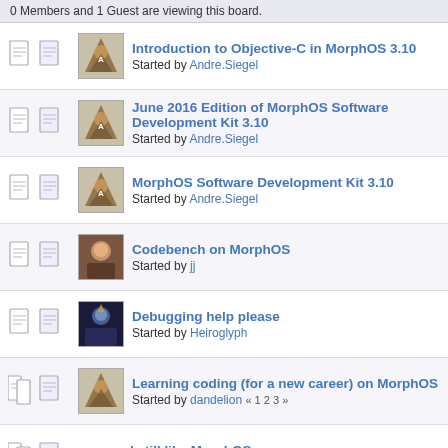0 Members and 1 Guest are viewing this board.
Introduction to Objective-C in MorphOS 3.10 — Started by Andre.Siegel
June 2016 Edition of MorphOS Software Development Kit 3.10 — Started by Andre.Siegel
MorphOS Software Development Kit 3.10 — Started by Andre.Siegel
Codebench on MorphOS — Started by jj
Debugging help please — Started by Heiroglyph
Learning coding (for a new career) on MorphOS — Started by dandelion « 1 2 3 »
I still like MorphOS more. — Started by Iggy « 1 2 3 »
MorphOS users meeting 2014 — Started by Iggy
MorphZone back up but fubared